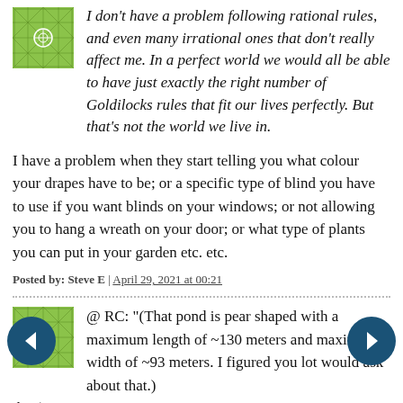I don't have a problem following rational rules, and even many irrational ones that don't really affect me. In a perfect world we would all be able to have just exactly the right number of Goldilocks rules that fit our lives perfectly. But that's not the world we live in.
I have a problem when they start telling you what colour your drapes have to be; or a specific type of blind you have to use if you want blinds on your windows; or not allowing you to hang a wreath on your door; or what type of plants you can put in your garden etc. etc.
Posted by: Steve E | April 29, 2021 at 00:21
@ RC: "(That pond is pear shaped with a maximum length of ~130 meters and maximum width of ~93 meters. I figured you lot would ask about that.)"
Fau...